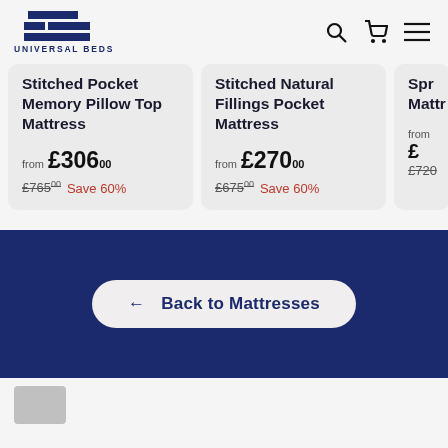[Figure (logo): Universal Beds logo with stacked navy blue bars and text]
Stitched Pocket Memory Pillow Top Mattress from £306.00 £765.00 Save 60%
Stitched Natural Fillings Pocket Mattress from £270.00 £675.00 Save 60%
Spr... Mattr... from £ £720...
← Back to Mattresses